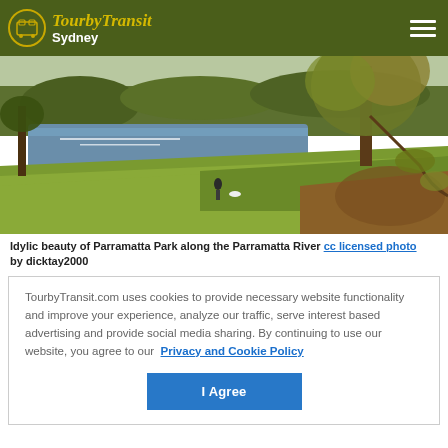TourbyTransit Sydney
[Figure (photo): Scenic photo of Parramatta Park along the Parramatta River — grassy hillside with autumn trees, river and pond in background, person visible on the lawn]
Idylic beauty of Parramatta Park along the Parramatta River cc licensed photo by dicktay2000
TourbyTransit.com uses cookies to provide necessary website functionality and improve your experience, analyze our traffic, serve interest based advertising and provide social media sharing. By continuing to use our website, you agree to our Privacy and Cookie Policy